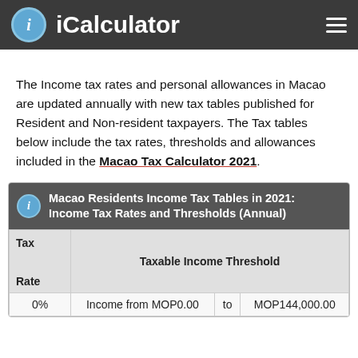iCalculator
The Income tax rates and personal allowances in Macao are updated annually with new tax tables published for Resident and Non-resident taxpayers. The Tax tables below include the tax rates, thresholds and allowances included in the Macao Tax Calculator 2021.
| Tax Rate | Taxable Income Threshold |  |  |
| --- | --- | --- | --- |
| 0% | Income from MOP0.00 | to | MOP144,000.00 |